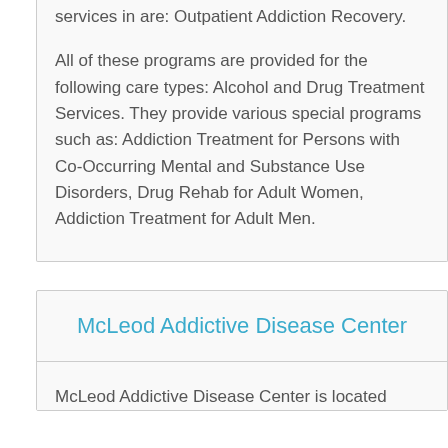services in are: Outpatient Addiction Recovery.
All of these programs are provided for the following care types: Alcohol and Drug Treatment Services. They provide various special programs such as: Addiction Treatment for Persons with Co-Occurring Mental and Substance Use Disorders, Drug Rehab for Adult Women, Addiction Treatment for Adult Men.
McLeod Addictive Disease Center
McLeod Addictive Disease Center is located